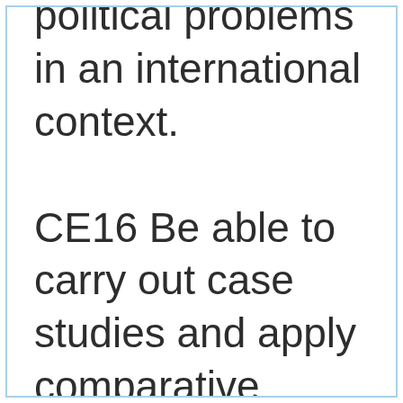political problems in an international context. CE16 Be able to carry out case studies and apply comparative method to analyze institutions.